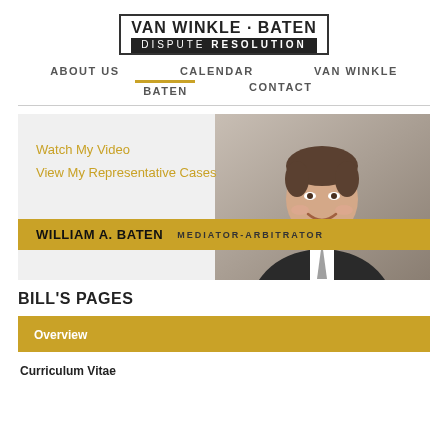[Figure (logo): Van Winkle Baten Dispute Resolution logo — black bordered box with bold text 'VAN WINKLE · BATEN' above a black bar reading 'DISPUTE RESOLUTION']
ABOUT US   CALENDAR   VAN WINKLE   BATEN   CONTACT
[Figure (photo): Banner image with a smiling middle-aged man in a dark suit and tie on the right. On the left: links 'Watch My Video' and 'View My Representative Cases' in gold. Bottom bar in gold reads 'WILLIAM A. BATEN  MEDIATOR-ARBITRATOR']
BILL'S PAGES
Overview
Curriculum Vitae